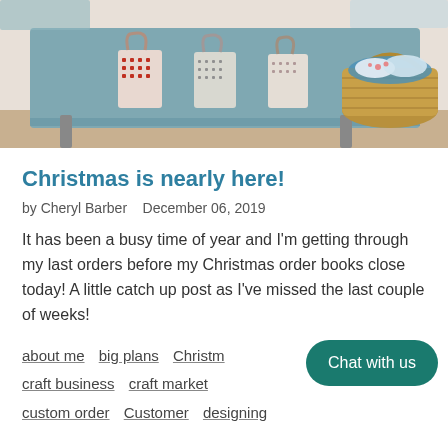[Figure (photo): A table covered with a teal/grey tablecloth displaying small decorative Christmas gift bags (red and grey patterned), with a wicker basket filled with fabric items on the right side.]
Christmas is nearly here!
by Cheryl Barber   December 06, 2019
It has been a busy time of year and I'm getting through my last orders before my Christmas order books close today! A little catch up post as I've missed the last couple of weeks!
about me   big plans   Christmas   craft business   craft market   custom order   Customer   designing